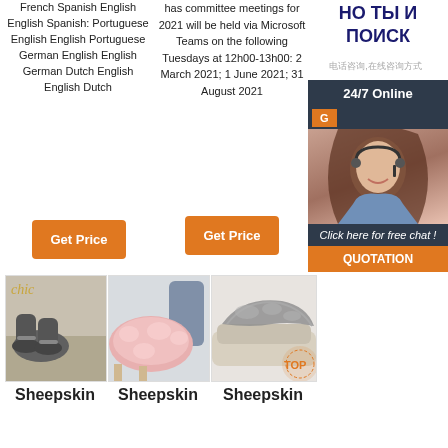French Spanish English English Spanish: Portuguese English English Portuguese German English English German Dutch English English Dutch
has committee meetings for 2021 will be held via Microsoft Teams on the following Tuesdays at 12h00-13h00: 2 March 2021; 1 June 2021; 31 August 2021
НО ТЫ И ПОИСК
电话咨询,在线咨询方式
[Figure (infographic): Customer service chat widget with '24/7 Online' header, agent photo, 'Click here for free chat!' text, and orange QUOTATION button]
Get Price
Get Price
[Figure (photo): Gray sheepskin boots on a light background]
[Figure (photo): Pink fluffy sheepskin rug on a chair]
[Figure (photo): Gray sheepskin throw on a sofa with TOP badge]
Sheepskin
Sheepskin
Sheepskin